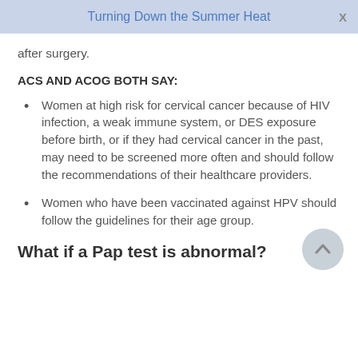Turning Down the Summer Heat
after surgery.
ACS AND ACOG BOTH SAY:
Women at high risk for cervical cancer because of HIV infection, a weak immune system, or DES exposure before birth, or if they had cervical cancer in the past, may need to be screened more often and should follow the recommendations of their healthcare providers.
Women who have been vaccinated against HPV should follow the guidelines for their age group.
What if a Pap test is abnormal?